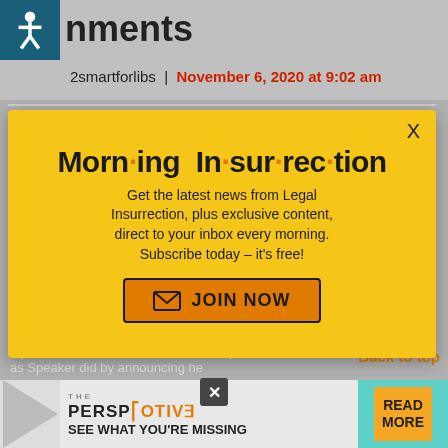nments
2smartforlibs | November 6, 2020 at 9:02 am
[Figure (screenshot): Morning Insurrection newsletter signup popup overlay with yellow background. Title: 'Morn·ing In·sur·rec·tion'. Body text: 'Get the latest news from Legal Insurrection, plus exclusive content, direct to your inbox every morning. Subscribe today – it's free!' Orange JOIN NOW button with envelope icon. X close button in top right.]
If you examine the stunt Paul Ryan as Speaker did by announcing he
remained in his seat to eventually
[Figure (screenshot): Bottom advertisement bar: THE PERSPECTIVE logo with 'SEE WHAT YOU'RE MISSING' text and READ MORE button on teal/cyan background.]